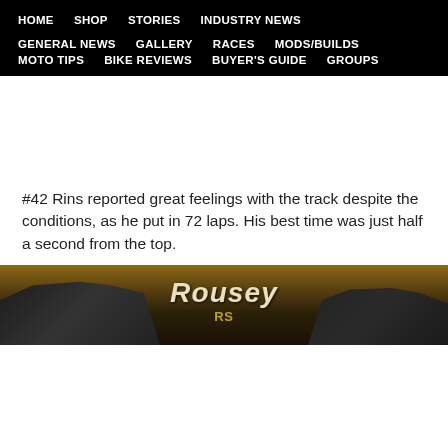HOME  SHOP  STORIES  INDUSTRY NEWS  GENERAL NEWS  GALLERY  RACES  MODS/BUILDS  MOTO TIPS  BIKE REVIEWS  BUYER'S GUIDE  GROUPS
#42 Rins reported great feelings with the track despite the conditions, as he put in 72 laps. His best time was just half a second from the top.
[Figure (photo): Motorcycle photo showing Rousey RS bikes against a dramatic sunset sky background]